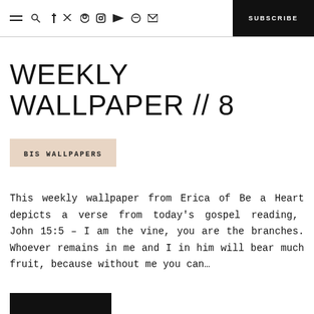≡ 🔍 f 𝕋 𝐏 ⊙ ▶ ♫ ✉  SUBSCRIBE
WEEKLY WALLPAPER // 8
BIS WALLPAPERS
This weekly wallpaper from Erica of Be a Heart depicts a verse from today's gospel reading,  John 15:5 – I am the vine, you are the branches. Whoever remains in me and I in him will bear much fruit, because without me you can...
[Figure (photo): Black rectangle partially visible at bottom of page]